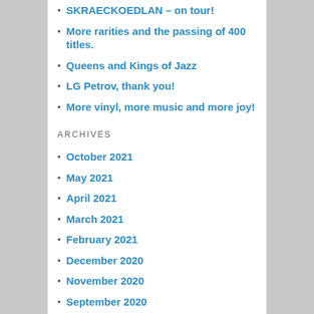SKRAECKOEDLAN – on tour!
More rarities and the passing of 400 titles.
Queens and Kings of Jazz
LG Petrov, thank you!
More vinyl, more music and more joy!
ARCHIVES
October 2021
May 2021
April 2021
March 2021
February 2021
December 2020
November 2020
September 2020
August 2020
May 2020
April 2020
March 2020
January 2020
April 2019